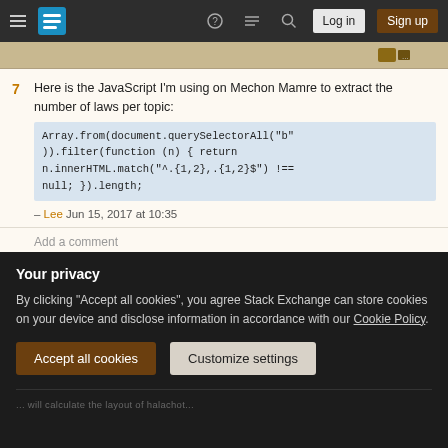Stack Exchange navigation bar with Log in and Sign up buttons
Here is the JavaScript I'm using on Mechon Mamre to extract the number of laws per topic:
Array.from(document.querySelectorAll("b")).filter(function (n) { return n.innerHTML.match("^.{1,2},.{1,2}$") !== null; }).length;
– Lee Jun 15, 2017 at 10:35
Add a comment
One simple way to calculate the number of halachot in Mishneh Torah is to use the URLs in the version on
Your privacy
By clicking "Accept all cookies", you agree Stack Exchange can store cookies on your device and disclose information in accordance with our Cookie Policy.
Accept all cookies  Customize settings